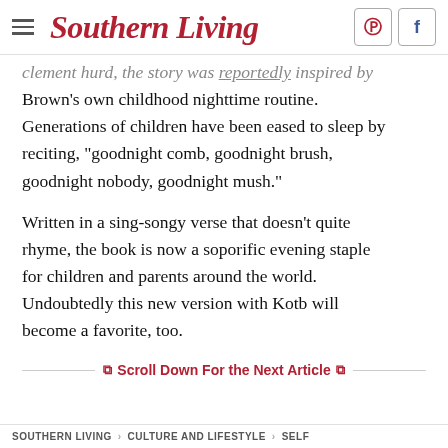Southern Living
clement hurd, the story was reportedly inspired by Brown's own childhood nighttime routine. Generations of children have been eased to sleep by reciting, "goodnight comb, goodnight brush, goodnight nobody, goodnight mush."
Written in a sing-songy verse that doesn't quite rhyme, the book is now a soporific evening staple for children and parents around the world. Undoubtedly this new version with Kotb will become a favorite, too.
Scroll Down For the Next Article
SOUTHERN LIVING   CULTURE AND LIFESTYLE   SELF